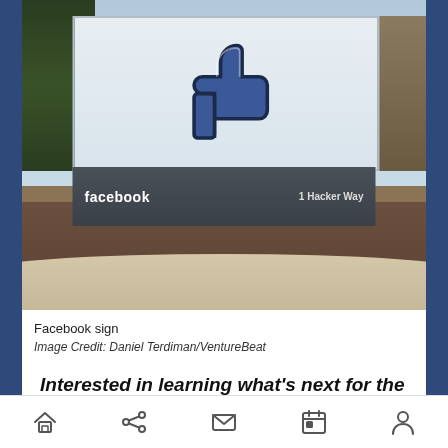[Figure (photo): Facebook headquarters sign at 1 Hacker Way showing the iconic thumbs-up Like logo on a large white and dark grey monument sign, surrounded by trees and landscaping with mulch ground cover.]
Facebook sign
Image Credit: Daniel Terdiman/VentureBeat
Interested in learning what's next for the gaming industry? Join gaming executives to discuss emerging